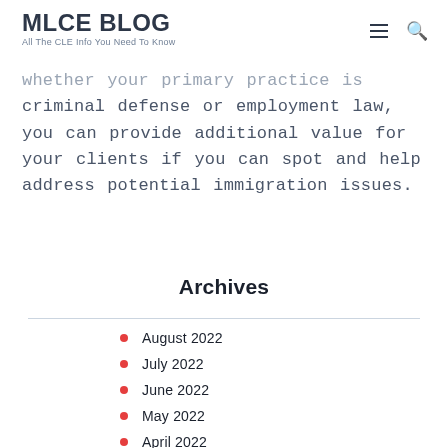MLCE BLOG
All The CLE Info You Need To Know
whether your primary practice is criminal defense or employment law, you can provide additional value for your clients if you can spot and help address potential immigration issues.
Archives
August 2022
July 2022
June 2022
May 2022
April 2022